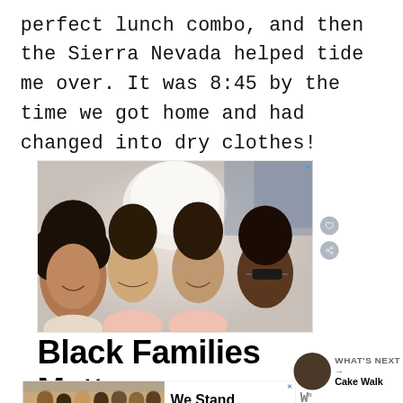perfect lunch combo, and then the Sierra Nevada helped tide me over. It was 8:45 by the time we got home and had changed into dry clothes!
[Figure (photo): Overhead photo of a Black family of four (mother and three children) lying on a bed looking up at camera, smiling. Advertisement for 'Black Families Matter'.]
Black Families Matt—
WHAT'S NEXT → Cake Walk
[Figure (photo): Bottom advertisement showing a group of people from behind with arms around each other. Text reads 'We Stand Together'.]